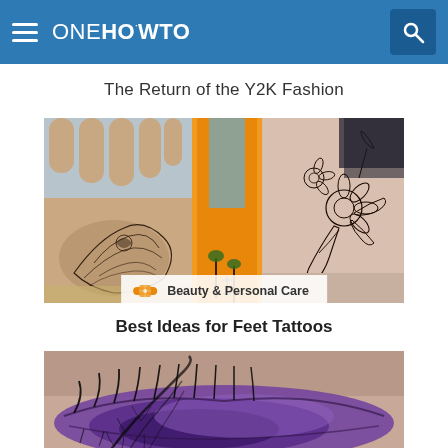ONE HOWTO
The Return of the Y2K Fashion
[Figure (photo): Collage of three feet/ankle tattoo photos: left shows intricate henna-style tattoo on foot, center shows small anchor tattoo on ankle with orange background, right shows floral tattoo on ankle/leg]
Beauty & Personal Care
Best Ideas for Feet Tattoos
[Figure (photo): Close-up photo of an eye with dramatic purple eyeshadow and feathery dark lashes or feather overlay]